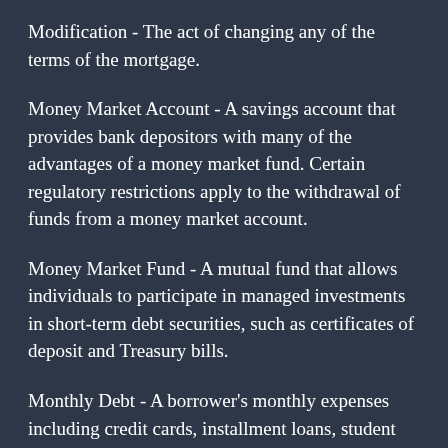Modification - The act of changing any of the terms of the mortgage.
Money Market Account - A savings account that provides bank depositors with many of the advantages of a money market fund. Certain regulatory restrictions apply to the withdrawal of funds from a money market account.
Money Market Fund - A mutual fund that allows individuals to participate in managed investments in short-term debt securities, such as certificates of deposit and Treasury bills.
Monthly Debt - A borrower's monthly expenses including credit cards, installment loans, student loan payments, alimony and child support and housing